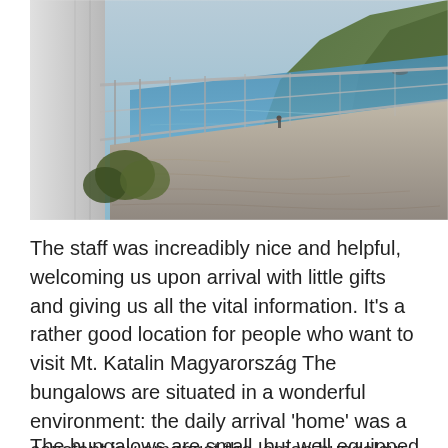[Figure (photo): Coastal beach photo showing a pebble beach with metal railing/fence along a promenade, blue sea water, green hillside in background, and structure on the left side. A person is visible on the beach.]
The staff was increadibly nice and helpful, welcoming us upon arrival with little gifts and giving us all the vital information. It's a rather good location for people who want to visit Mt. Katalin Magyarország The bungalows are situated in a wonderful environment: the daily arrival 'home' was a constant joy amongst the lemon bungalow giardini naxos sul mare, eucaliptii and oleander bushes.
The bungalows are small, but well equipped and had